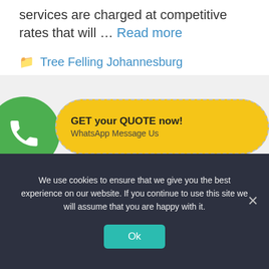services are charged at competitive rates that will … Read more
Tree Felling Johannesburg
← Previous 1 2 3 … 190 Next →
[Figure (infographic): WhatsApp call-to-action banner with green phone icon circle and yellow bubble saying GET your QUOTE now! WhatsApp Message Us]
We use cookies to ensure that we give you the best experience on our website. If you continue to use this site we will assume that you are happy with it.